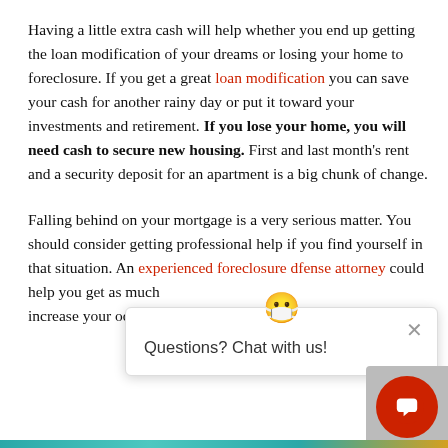Having a little extra cash will help whether you end up getting the loan modification of your dreams or losing your home to foreclosure. If you get a great loan modification you can save your cash for another rainy day or put it toward your investments and retirement. If you lose your home, you will need cash to secure new housing. First and last month's rent and a security deposit for an apartment is a big chunk of change.
Falling behind on your mortgage is a very serious matter. You should consider getting professional help if you find yourself in that situation. An experienced foreclosure defense attorney could help you get as much ... increase your odds of gettin...
[Figure (screenshot): Chat widget popup with emoji mascot, close button (×), and text 'Questions? Chat with us!' along with a red circular chat button in the bottom-right corner.]